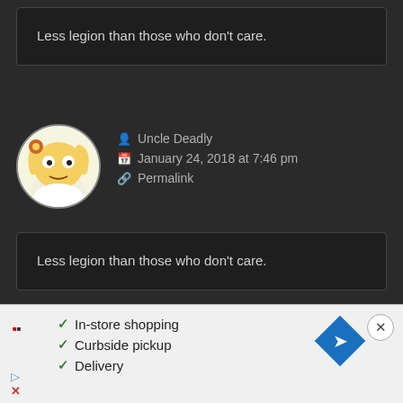Less legion than those who don't care.
Uncle Deadly
January 24, 2018 at 7:46 pm
Permalink
Less legion than those who don't care.
Tumas
January 25, 2018 at 12:4...
[Figure (screenshot): Advertisement overlay with white background showing: In-store shopping, Curbside pickup, Delivery checkmarks; blue diamond arrow icon; X close button; ad attribution icons]
[Figure (other): Blue upward scroll arrow button at right side]